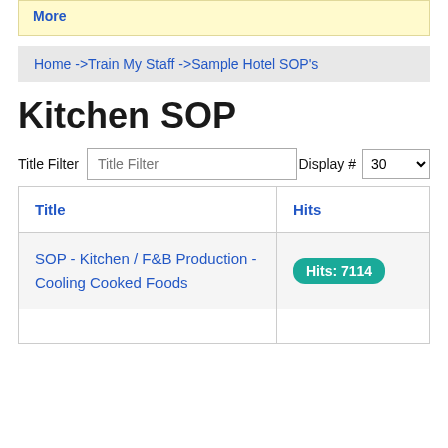More
Home ->Train My Staff ->Sample Hotel SOP's
Kitchen SOP
Title Filter   Display # 30
| Title | Hits |
| --- | --- |
| SOP - Kitchen / F&B Production - Cooling Cooked Foods | Hits: 7114 |